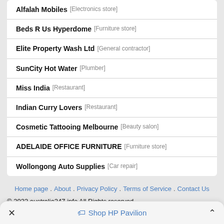Alfalah Mobiles [Electronics store]
Beds R Us Hyperdome [Furniture store]
Elite Property Wash Ltd [General contractor]
SunCity Hot Water [Plumber]
Miss India [Restaurant]
Indian Curry Lovers [Restaurant]
Cosmetic Tattooing Melbourne [Beauty salon]
ADELAIDE OFFICE FURNITURE [Furniture store]
Wollongong Auto Supplies [Car repair]
Home page . About . Privacy Policy . Terms of Service . Contact Us
© 2022 australia247.info All Rights Reserved.
At australia247 our purpose is to help people find great local
Shop HP Pavilion